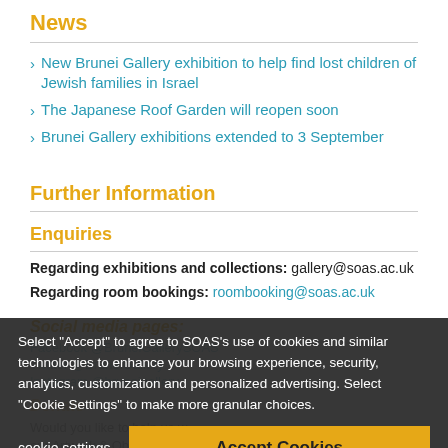News
New Brunei Gallery exhibition to help find lost children of Jewish families in Israel
The Japanese Roof Garden will reopen soon
Brunei Gallery exhibitions extended to 3 September
Further Information
Enquiries
Regarding exhibitions and collections: gallery@soas.ac.uk
Regarding room bookings: roombooking@soas.ac.uk
Social media pages:
Facebook @BruneiGallerySOAS
Twitter @BruneiGallery
Instagram @bruneigallery
Donate
Would you like to help us with the management of our Artwork & Object Collections in the Brunei Gallery, SOAS?
Select "Accept" to agree to SOAS's use of cookies and similar technologies to enhance your browsing experience, security, analytics, customization and personalized advertising. Select "Cookie Settings" to make more granular choices.